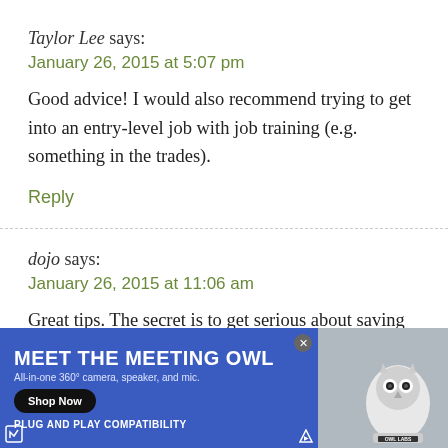Taylor Lee says:
January 26, 2015 at 5:07 pm
Good advice! I would also recommend trying to get into an entry-level job with job training (e.g. something in the trades).
Reply
dojo says:
January 26, 2015 at 11:06 am
Great tips. The secret is to get serious about saving
[Figure (other): Advertisement banner for 'Meet the Meeting Owl' — all-in-one 360° camera, speaker, and mic. Blue background with white bold text, Shop Now button, and image of the owl device on right side. OWL LABS branding.]